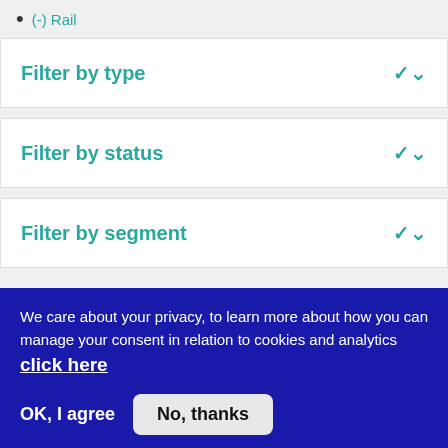(-) Rail
Filter by type
Filter by status
Filter by segment
We care about your privacy, to learn more about how you can manage your consent in relation to cookies and analytics click here
OK, I agree
No, thanks